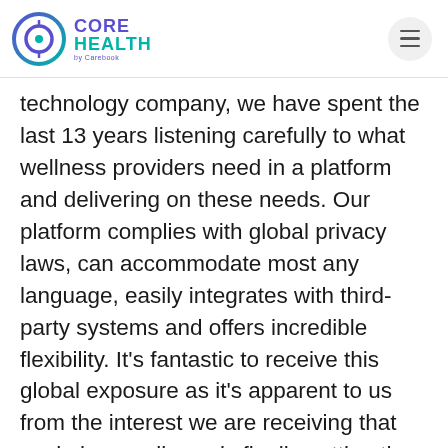CORE HEALTH by Carebook
technology company, we have spent the last 13 years listening carefully to what wellness providers need in a platform and delivering on these needs. Our platform complies with global privacy laws, can accommodate most any language, easily integrates with third-party systems and offers incredible flexibility. It's fantastic to receive this global exposure as it's apparent to us from the interest we are receiving that workplace wellness is finally getting the attention it deserves from countries around the world." says Anne Marie Kirby, CEO and Health Revolutionary of CoreHealth Technologies.